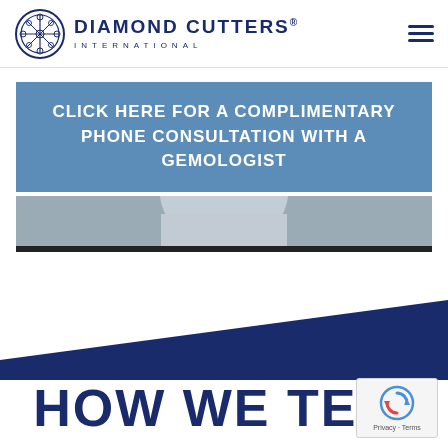[Figure (logo): Diamond Cutters International logo with circular emblem and text]
CLICK HERE FOR A COMPLIMENTARY PHONE CONSULTATION WITH A GEMOLOGIST
[Figure (photo): Partial photo of a person wearing a light blue shirt, cropped to show torso]
[Figure (illustration): Dark navy blue diagonal triangle/wedge shape graphic element]
HOW WE TELL
[Figure (other): Google reCAPTCHA badge with Privacy and Terms links]